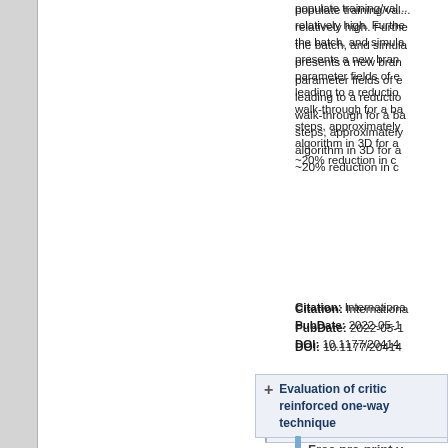populate training/val... relatively high. Further... the batch, and simula... presents a new bran... parameter fields of e... leading to a reduction... walk-through for a ba... steps, approximately... algorithm in 3D for a... ~20% reduction in c...
Citation: Internationa... PubDate: 2022-05-1... DOI: 10.1177/204414...
Evaluation of critic... reinforced one-way... technique
Free pre-print v
Authors: S.M. Anas,
Abstract: Internationa... Nowadays, accidenta... mishandling of fuel g... Contact blast on slab... components of the bu... blast is localized in th... state-of-the-art revie... loading scenario by t... blast to cause maxim... investigate the effec...